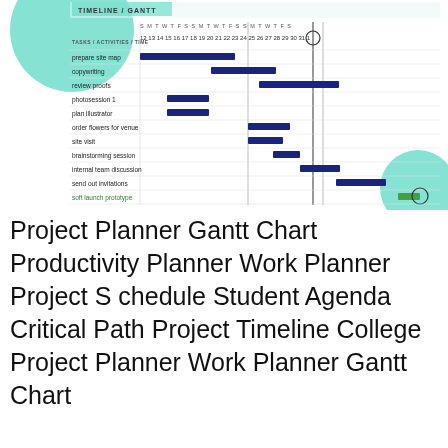[Figure (other): Gantt chart / project planner timeline showing tasks/activities on the left and colored horizontal bars spanning date columns (12–31 and 1) across the top. Tasks include: prepare site map, copywriting, review proofs, photosession 1, plan illustrator, order flowers for venue, site visit, brainstorming session, internal team discussion, send out invitations, soft launch prototype. A teal decorative circle is partially visible top-left and bottom-right. A vertical line marks day 25 which is circled. The last task bar is green.]
Project Planner Gantt Chart Productivity Planner Work Planner Project Schedule Student Agenda Critical Path Project Timeline College Project Planner Work Planner Gantt Chart